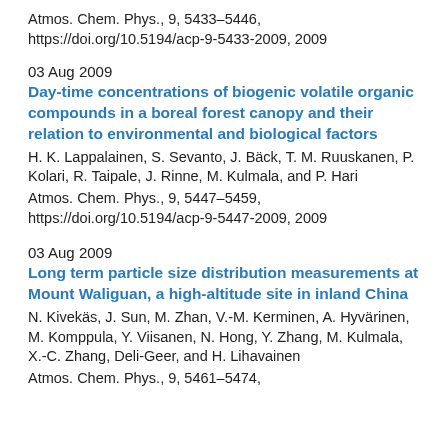Atmos. Chem. Phys., 9, 5433–5446, https://doi.org/10.5194/acp-9-5433-2009, 2009
03 Aug 2009
Day-time concentrations of biogenic volatile organic compounds in a boreal forest canopy and their relation to environmental and biological factors
H. K. Lappalainen, S. Sevanto, J. Bäck, T. M. Ruuskanen, P. Kolari, R. Taipale, J. Rinne, M. Kulmala, and P. Hari
Atmos. Chem. Phys., 9, 5447–5459, https://doi.org/10.5194/acp-9-5447-2009, 2009
03 Aug 2009
Long term particle size distribution measurements at Mount Waliguan, a high-altitude site in inland China
N. Kivekäs, J. Sun, M. Zhan, V.-M. Kerminen, A. Hyvärinen, M. Komppula, Y. Viisanen, N. Hong, Y. Zhang, M. Kulmala, X.-C. Zhang, Deli-Geer, and H. Lihavainen
Atmos. Chem. Phys., 9, 5461–5474,